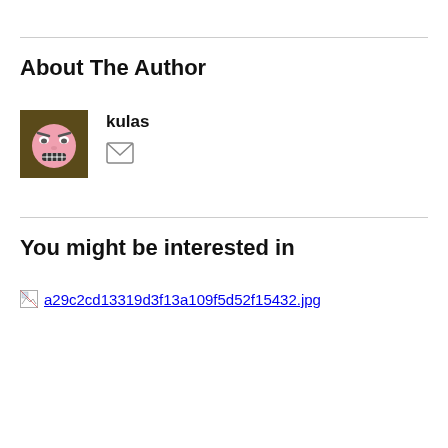About The Author
kulas
[Figure (illustration): Author avatar: cartoon angry face with pink color on brown/dark olive background square]
[Figure (other): Email envelope icon (outline)]
You might be interested in
[Figure (other): Broken image placeholder followed by link text: a29c2cd13319d3f13a109f5d52f15432.jpg]